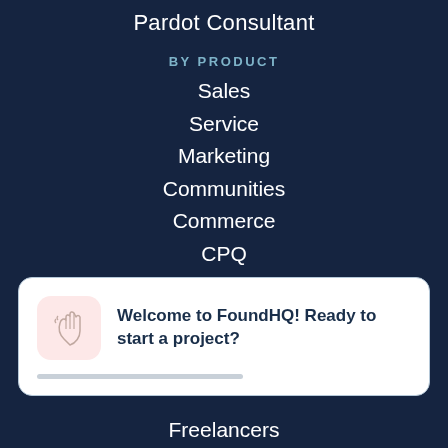Pardot Consultant
BY PRODUCT
Sales
Service
Marketing
Communities
Commerce
CPQ
Pardot
Field Service
[Figure (illustration): Popup card with waving hand icon and text: Welcome to FoundHQ! Ready to start a project?]
Freelancers